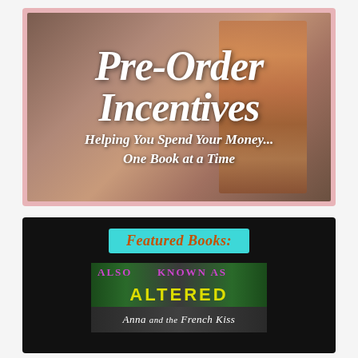[Figure (illustration): Pre-Order Incentives banner image with books in background and script text reading 'Pre-Order Incentives - Helping You Spend Your Money... One Book at a Time']
[Figure (illustration): Featured Books section on black background with cyan 'Featured Books:' label and book covers for 'Also Known As Altered' and 'Anna and the French Kiss']